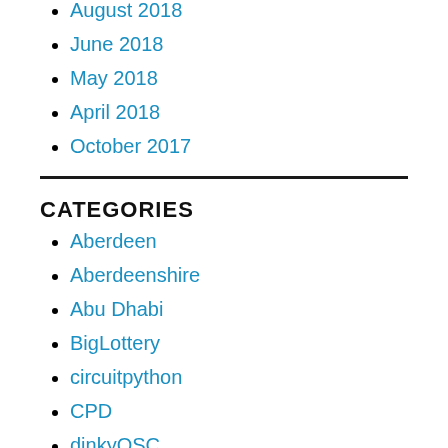August 2018
June 2018
May 2018
April 2018
October 2017
CATEGORIES
Aberdeen
Aberdeenshire
Abu Dhabi
BigLottery
circuitpython
CPD
dinkyOSC